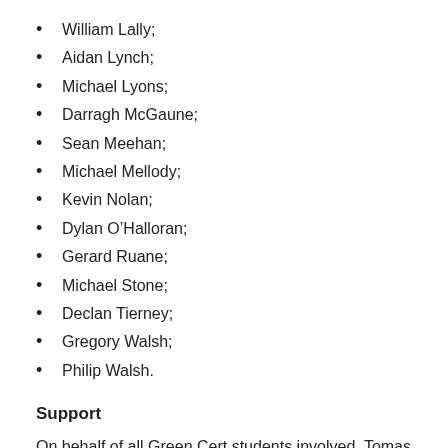William Lally;
Aidan Lynch;
Michael Lyons;
Darragh McGaune;
Sean Meehan;
Michael Mellody;
Kevin Nolan;
Dylan O’Halloran;
Gerard Ruane;
Michael Stone;
Declan Tierney;
Gregory Walsh;
Philip Walsh.
Support
On behalf of all Green Cert students involved, Tomas and Gerard, thanked those throughout the country who supported